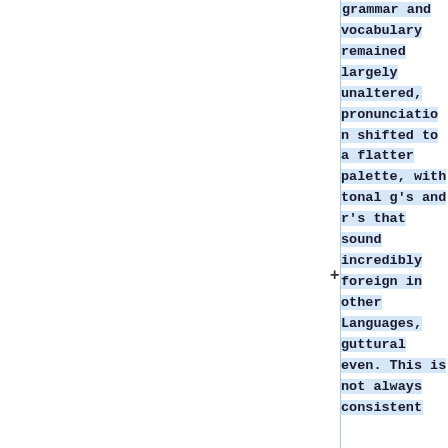grammar and vocabulary remained largely unaltered, pronunciation shifted to a flatter palette, with tonal g's and r's that sound incredibly foreign in other Languages, guttural even. This is not always consistent